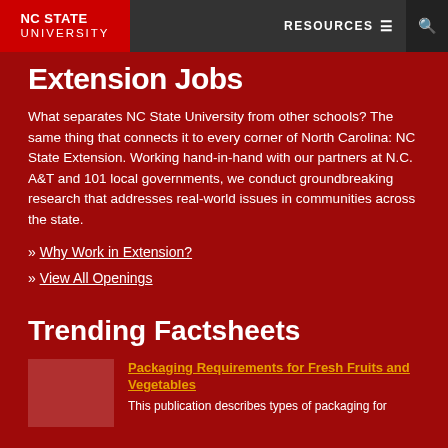NC STATE UNIVERSITY | RESOURCES | [search]
Extension Jobs
What separates NC State University from other schools? The same thing that connects it to every corner of North Carolina: NC State Extension. Working hand-in-hand with our partners at N.C. A&T and 101 local governments, we conduct groundbreaking research that addresses real-world issues in communities across the state.
» Why Work in Extension?
» View All Openings
Trending Factsheets
[Figure (photo): Thumbnail image for Packaging Requirements for Fresh Fruits and Vegetables factsheet]
Packaging Requirements for Fresh Fruits and Vegetables
This publication describes types of packaging for...